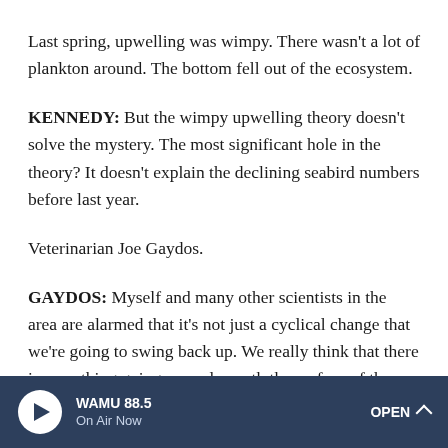Last spring, upwelling was wimpy. There wasn't a lot of plankton around. The bottom fell out of the ecosystem.
KENNEDY: But the wimpy upwelling theory doesn't solve the mystery. The most significant hole in the theory? It doesn't explain the declining seabird numbers before last year.
Veterinarian Joe Gaydos.
GAYDOS: Myself and many other scientists in the area are alarmed that it's not just a cyclical change that we're going to swing back up. We really think that there is something going on underneath the surface of the water that we need to figure
WAMU 88.5 On Air Now OPEN